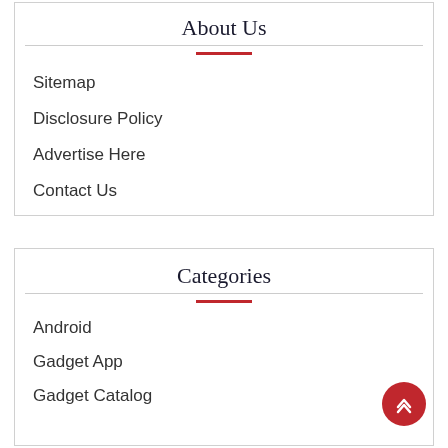About Us
Sitemap
Disclosure Policy
Advertise Here
Contact Us
Categories
Android
Gadget App
Gadget Catalog